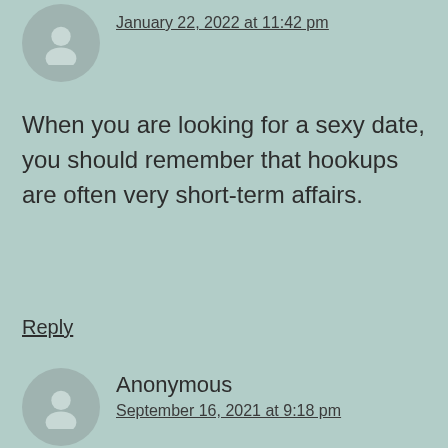January 22, 2022 at 11:42 pm
When you are looking for a sexy date, you should remember that hookups are often very short-term affairs.
Reply
Anonymous
September 16, 2021 at 9:18 pm
You will want to make sure that any women that you have hookup and dating experiences